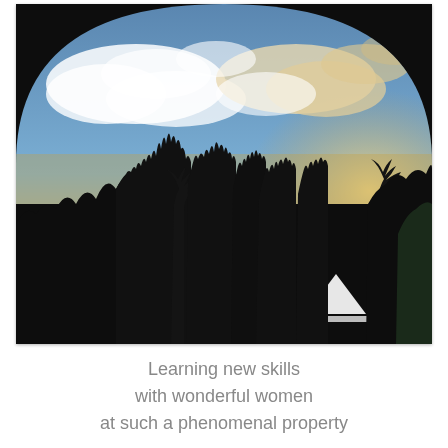[Figure (photo): Photograph taken through an arched opening showing a silhouetted landscape at dusk or dawn. The sky is blue with white clouds and a warm golden glow near the horizon. In the foreground are dark silhouettes of trees including palm trees and tall cypress-like trees. A white tent or canopy structure is visible in the middle ground.]
Learning new skills
with wonderful women
at such a phenomenal property